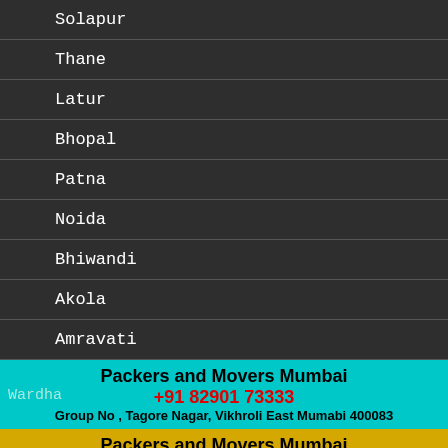Solapur
Thane
Latur
Bhopal
Patna
Noida
Bhiwandi
Akola
Amravati
Wardha — Packers and Movers Mumbai +91 82901 73333 Group No , Tagore Nagar, Vikhroli East Mumabi 400083
Washim — Packers and Movers Mumbai +91 82901 73333 Shop No, Sylvia Co. Oprative Home Socity, Sector 8, Airoli, Navi Mumbai 400708
Bood